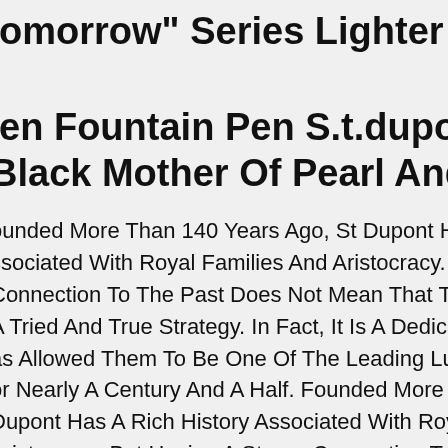"Tomorrow" Series Lighter 016149
Pen Fountain Pen S.t.dupont Olympio Black Mother Of Pearl And Palladium
Founded More Than 140 Years Ago, St Dupont Has A Rich History Associated With Royal Families And Aristocracy. But Having A Strong Connection To The Past Does Not Mean That The Brand Is Adhering To A Tried And True Strategy. In Fact, It Is A Dedication To Innovation That Has Allowed Them To Be One Of The Leading Luxury Manufacturers For Nearly A Century And A Half. Founded More Than 140 Years Ago, St Dupont Has A Rich History Associated With Royal Families And Aristocracy. But Having A Strong Connection To The Past Does Not Mean That The Brand Is Adhering To A Tried And True Strategy. In Fact, It Is A Dedication To Innovation That Has Allowed Them To Be One Of The Leading Luxury Manufacturers For Nearly A Century And A Half. Founded More Than 140 Years Ago, St Dupont Has A Rich History Asso...